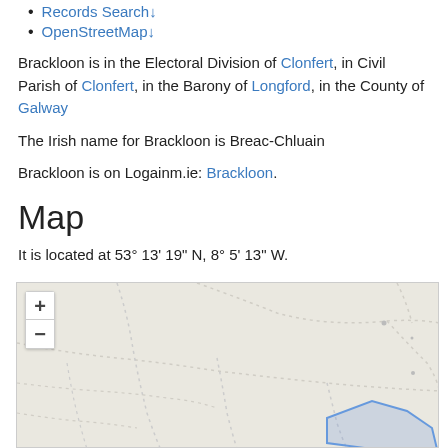Records Search↓
OpenStreetMap↓
Brackloon is in the Electoral Division of Clonfert, in Civil Parish of Clonfert, in the Barony of Longford, in the County of Galway
The Irish name for Brackloon is Breac-Chluain
Brackloon is on Logainm.ie: Brackloon.
Map
It is located at 53° 13' 19" N, 8° 5' 13" W.
[Figure (map): OpenStreetMap tile showing rural area near Brackloon, County Galway, Ireland. Dashed roads visible on beige/cream background with a blue-outlined polygon region visible in the lower right corner. Zoom controls (+ and -) in upper left.]